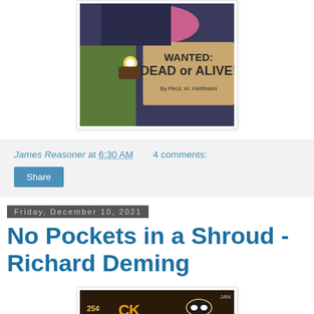[Figure (photo): Book cover of 'Wanted: Dead or Alive!' by Paul W. Fairman, showing a cowboy with a gun and a wooden sign.]
James Reasoner at 6:30 AM    4 comments:
Share
Friday, December 10, 2021
No Pockets in a Shroud - Richard Deming
[Figure (photo): Partially visible book cover with '25¢' visible, dark background with colorful text.]